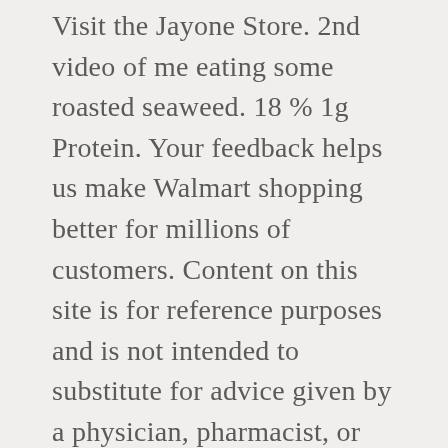Visit the Jayone Store. 2nd video of me eating some roasted seaweed. 18 % 1g Protein. Your feedback helps us make Walmart shopping better for millions of customers. Content on this site is for reference purposes and is not intended to substitute for advice given by a physician, pharmacist, or other licensed health-care professional. They aren't terribly filling but they take some time to eat and make for a good snack. Reviewed in the United States on July 23, 2017. We do not have any recommendations at this time. 1.00g. Portionsgröße: 1 pack. 0mg. Grab a bag of baked and uniquely flavored seaweed for a salty crunch or pick up a seaweed salad to go, for a refreshing bite. Fitnessziele: Herzgesundheit.